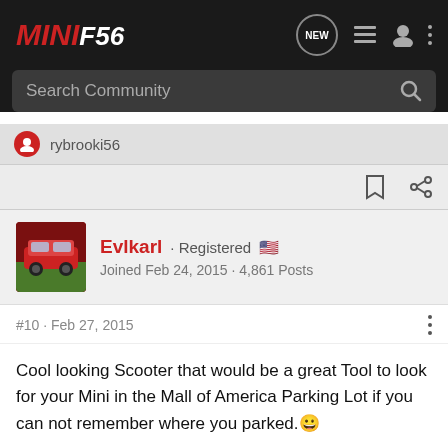[Figure (logo): MINI F56 forum logo in red and white on dark background]
Search Community
rybrooki56
Evlkarl · Registered 🇺🇸
Joined Feb 24, 2015 · 4,861 Posts
#10 · Feb 27, 2015
Cool looking Scooter that would be a great Tool to look for your Mini in the Mall of America Parking Lot if you can not remember where you parked.😀
http://www.motoringfile.com/2015/02...on-present-the-future-of-mobility/#more-39172